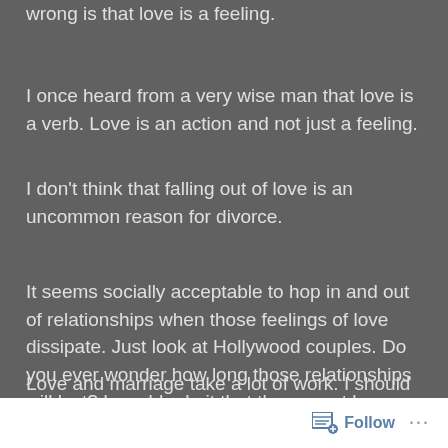wrong is that love is a feeling.
I once heard from a very wise man that love is a verb. Love is an action and not just a feeling.
I don’t think that falling out of love is an uncommon reason for divorce.
It seems socially acceptable to hop in and out of relationships when those feelings of love dissipate. Just look at Hollywood couples. Do you ever wonder how long those relationships will last? I would admit that there must be some excitement in always being in love, being with someone new.
Love and marriage take a lot of work. I should know
Follow